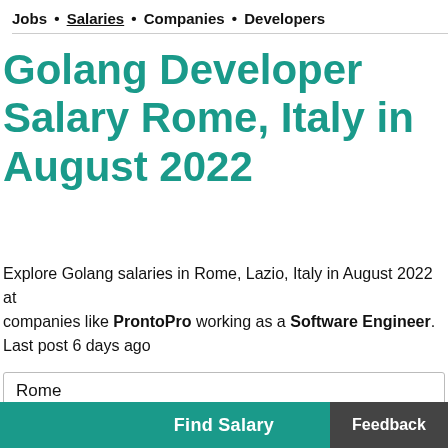Jobs • Salaries • Companies • Developers
Golang Developer Salary Rome, Italy in August 2022
Explore Golang salaries in Rome, Lazio, Italy in August 2022 at companies like ProntoPro working as a Software Engineer. Last post 6 days ago
Rome
Find Salary
Feedback